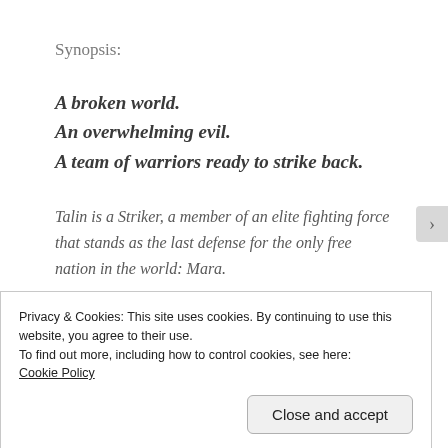Synopsis:
A broken world.
An overwhelming evil.
A team of warriors ready to strike back.
Talin is a Striker, a member of an elite fighting force that stands as the last defense for the only free nation in the world: Mara.
Privacy & Cookies: This site uses cookies. By continuing to use this website, you agree to their use.
To find out more, including how to control cookies, see here:
Cookie Policy
Close and accept